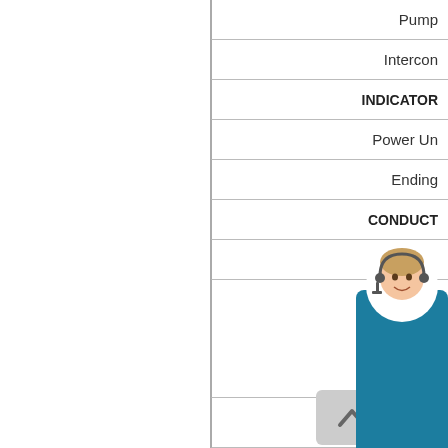Pump
Intercon
INDICATOR
Power Un
Ending
CONDUCT
CARPET
RP
Tempe
CONTACT
[Figure (illustration): Teal CTA card with a female customer service agent avatar (headset) and Russian text 'СДЕЛАТЬ ЗАКАЗ' (Make an order), overlaying the navigation panel. Below, a grey button with an up-arrow chevron icon.]